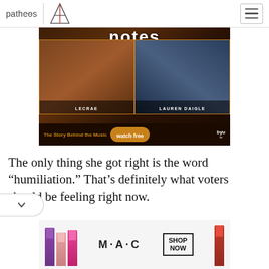patheos | A (logo) | hamburger menu
[Figure (photo): Advertisement banner for BYU TV show featuring Lecrae and Lauren Daigle. Text reads 'notes', 'The Story Behind the Music', 'watch free', 'byu tv'. Shows two performers singing.]
The only thing she got right is the word “humiliation.” That’s definitely what voters should be feeling right now.
[Figure (photo): MAC cosmetics advertisement showing lipsticks in purple, pink, and red colors with text 'SHOP NOW']